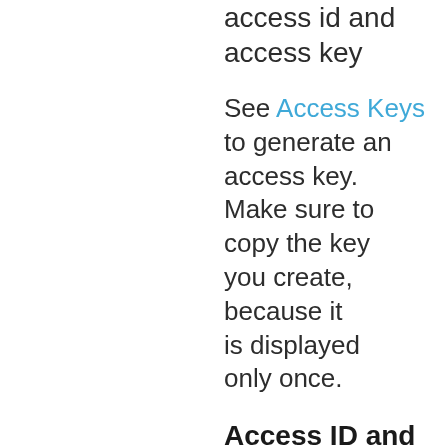should access id and access key
See Access Keys to generate an access key. Make sure to copy the key you create, because it is displayed only once.
Access ID and access key
When you have an accessId and...